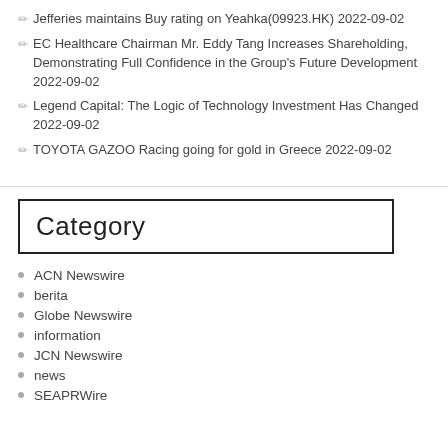Jefferies maintains Buy rating on Yeahka(09923.HK) 2022-09-02
EC Healthcare Chairman Mr. Eddy Tang Increases Shareholding, Demonstrating Full Confidence in the Group's Future Development 2022-09-02
Legend Capital: The Logic of Technology Investment Has Changed 2022-09-02
TOYOTA GAZOO Racing going for gold in Greece 2022-09-02
Category
ACN Newswire
berita
Globe Newswire
information
JCN Newswire
news
SEAPRWire